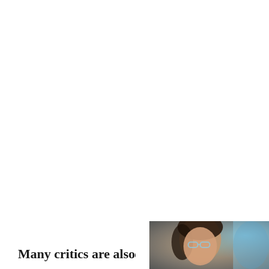Many critics are also
[Figure (photo): Partial photo of a person, cropped showing face/head area with blurred background in warm and blue tones]